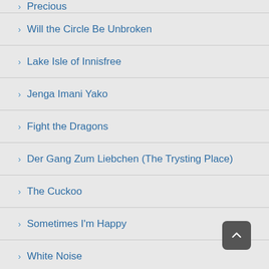Precious
Will the Circle Be Unbroken
Lake Isle of Innisfree
Jenga Imani Yako
Fight the Dragons
Der Gang Zum Liebchen (The Trysting Place)
The Cuckoo
Sometimes I'm Happy
White Noise
Back Pocket